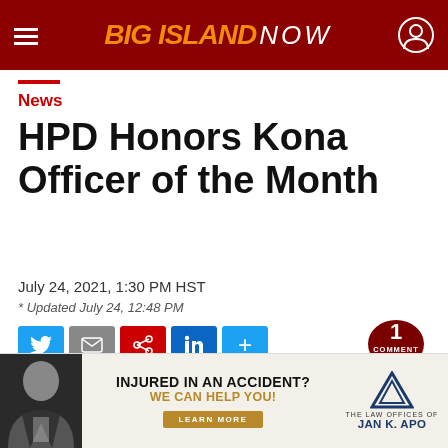BIG ISLAND NOW
News
HPD Honors Kona Officer of the Month
July 24, 2021, 1:30 PM HST
* Updated July 24, 12:48 PM
[Figure (infographic): Social share buttons: Twitter, Email, Share, LinkedIn, More. Comment bubble showing 1 comment.]
[Figure (infographic): Advertisement banner: Injured in an accident? We can help you! The Law Offices of Jan K. Apo. Learn More button.]